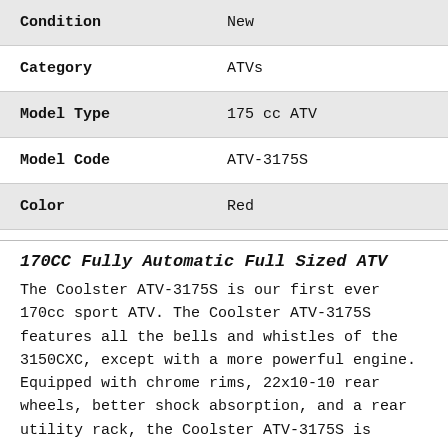| Attribute | Value |
| --- | --- |
| Condition | New |
| Category | ATVs |
| Model Type | 175 cc ATV |
| Model Code | ATV-3175S |
| Color | Red |
170CC Fully Automatic Full Sized ATV
The Coolster ATV-3175S is our first ever 170cc sport ATV. The Coolster ATV-3175S features all the bells and whistles of the 3150CXC, except with a more powerful engine. Equipped with chrome rims, 22x10-10 rear wheels, better shock absorption, and a rear utility rack, the Coolster ATV-3175S is